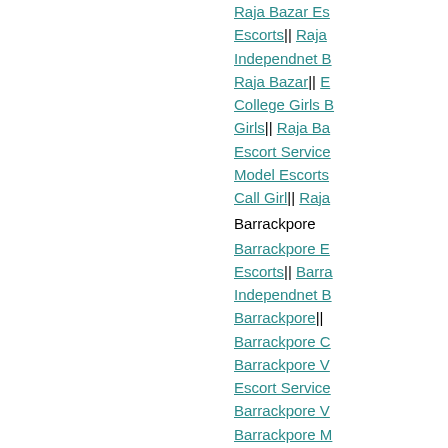Raja Bazar Es... Escorts|| Raja Independnet B... Raja Bazar|| E... College Girls B... Girls|| Raja Ba... Escort Service Model Escorts Call Girl|| Raja
Barrackpore
Barrackpore E... Escorts|| Barra Independnet B... Barrackpore|| B... Barrackpore C... Barrackpore V... Escort Service Barrackpore V... Barrackpore M... Barrackpore H...
Maheshtala
Maheshtala Es... Escorts|| Mahe Independnet B... Maheshtala||